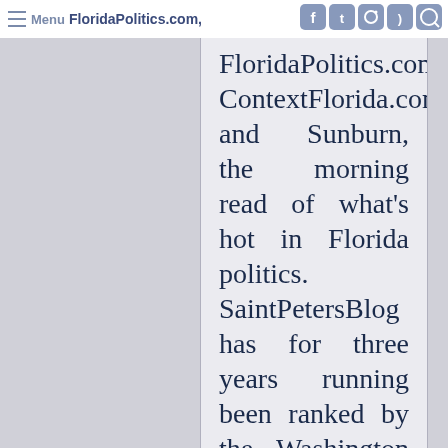Menu FloridaPolitics.com
FloridaPolitics.com, ContextFlorida.com, and Sunburn, the morning read of what's hot in Florida politics. SaintPetersBlog has for three years running been ranked by the Washington Post as the best state-based blog in Florida. In addition to his publishing efforts, Peter is a political